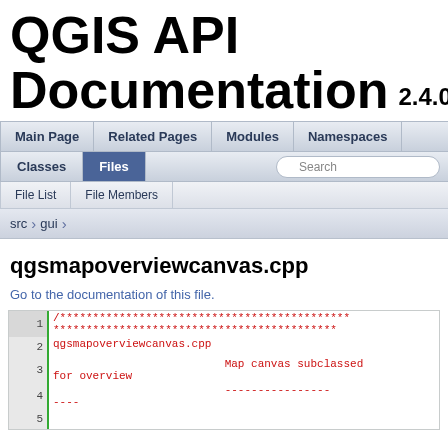QGIS API Documentation 2.4.0-Chugiak
Main Page | Related Pages | Modules | Namespaces | Classes | Files | Search
File List | File Members
src > gui
qgsmapoverviewcanvas.cpp
Go to the documentation of this file.
1 /********************************************** 2 qgsmapoverviewcanvas.cpp 3                           Map canvas subclassed for overview 4                           --------------- 5